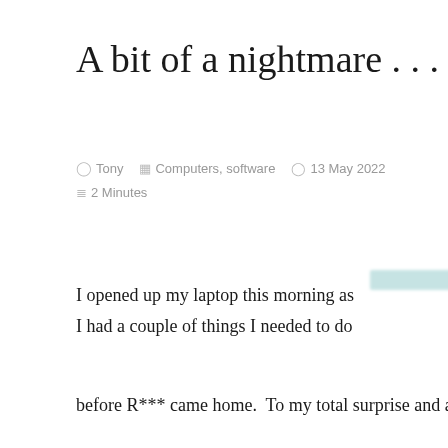A bit of a nightmare . . .
Tony   Computers, software   13 May 2022
2 Minutes
I opened up my laptop this morning as I had a couple of things I needed to do
[Figure (screenshot): Windows Update dialog box: 'Your device will restart to update outside of active hours (estimate: 5 min) Leave it on and plugged in. Open Settings to adjust your active hours and whether you want reminders.' with buttons 'Restart now' and 'OK']
before R*** came home. To my total surprise and annoyance, there was that little box at the bottom